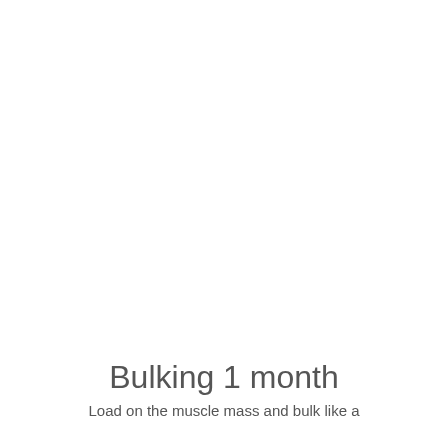Bulking 1 month
Load on the muscle mass and bulk like a